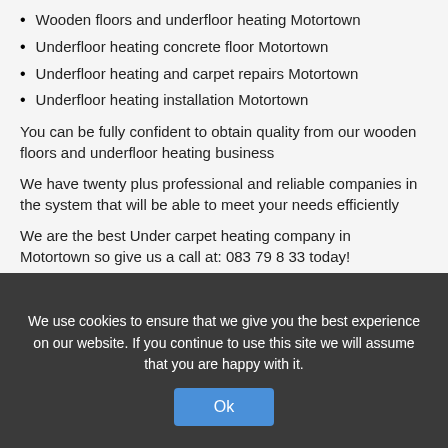Wooden floors and underfloor heating Motortown
Underfloor heating concrete floor Motortown
Underfloor heating and carpet repairs Motortown
Underfloor heating installation Motortown
You can be fully confident to obtain quality from our wooden floors and underfloor heating business
We have twenty plus professional and reliable companies in the system that will be able to meet your needs efficiently
We are the best Under carpet heating company in Motortown so give us a call at: 083 79 8 33 today!
<< Residential renovations in Motortown
Home gas bottle installation in Motortown >>
[Figure (other): Green phone icon circle and yellow GET your QUOTE now! banner button, partially visible with overlapping cookie consent overlay]
We use cookies to ensure that we give you the best experience on our website. If you continue to use this site we will assume that you are happy with it.
Ok